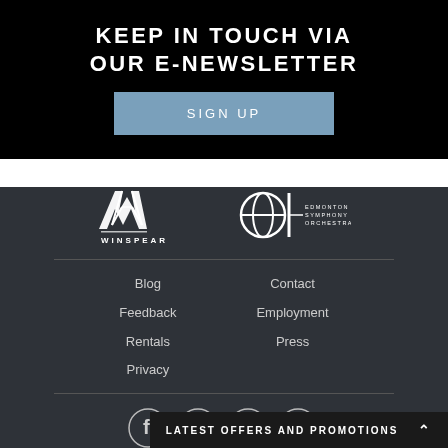KEEP IN TOUCH VIA OUR E-NEWSLETTER
SIGN UP
[Figure (logo): Winspear Centre logo — stylized 'W' graphic with text WINSPEAR below]
[Figure (logo): Edmonton Symphony Orchestra logo — stylized 'E' graphic with text EDMONTON SYMPHONY ORCHESTRA]
Blog
Feedback
Rentals
Privacy
Contact
Employment
Press
[Figure (illustration): Social media icons: Facebook, Instagram, Twitter, YouTube]
LATEST OFFERS AND PROMOTIONS ^